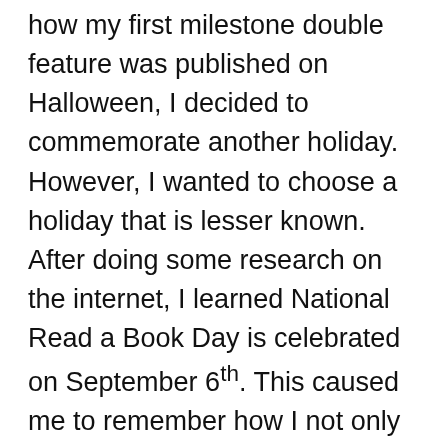how my first milestone double feature was published on Halloween, I decided to commemorate another holiday. However, I wanted to choose a holiday that is lesser known. After doing some research on the internet, I learned National Read a Book Day is celebrated on September 6th. This caused me to remember how I not only had the 2017 movie, At Home in Mitford, on my DVR, but I also owned a copy of the book it is based on. Then I remembered I had a copy of Saint Maybe, the same book that was adapted into a Hallmark Hall of Fame film. That was when the idea for this double feature was born! With every double feature, I try to answer a thought-provoking question related to both films. Since I